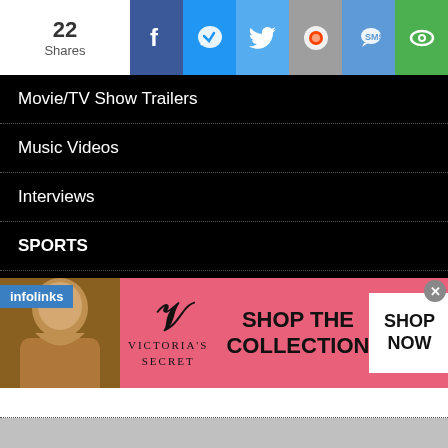[Figure (screenshot): Social share bar with 22 Shares count, Facebook, Messenger, Twitter, Reddit, SMS, and eye/save icons]
Movie/TV Show Trailers
Music Videos
Interviews
SPORTS
VIRAL VIDEOS
SHOP
DOWNLOAD APP
RATCHETFRIDAYMEDIA NEWSLETTER
CONTACT
[Figure (screenshot): Infolinks label and Victoria's Secret advertisement banner: SHOP THE COLLECTION with SHOP NOW button]